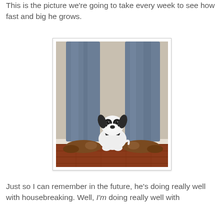This is the picture we're going to take every week to see how fast and big he grows.
[Figure (photo): A small black and white puppy sitting on a hardwood floor between the legs of a person wearing blue jeans and brown dress shoes, against a beige wall.]
Just so I can remember in the future, he's doing really well with housebreaking. Well, I'm doing really well with housebreaking...